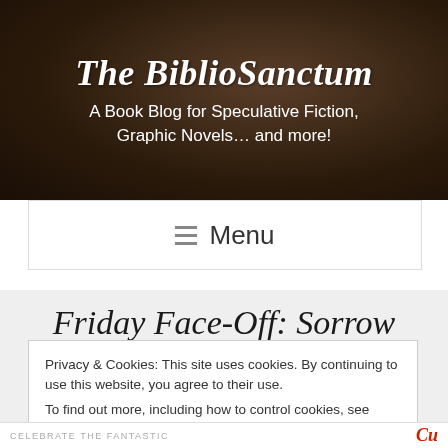The BiblioSanctum
A Book Blog for Speculative Fiction, Graphic Novels... and more!
≡ Menu
Friday Face-Off: Sorrow
Privacy & Cookies: This site uses cookies. By continuing to use this website, you agree to their use.
To find out more, including how to control cookies, see here: Cookie Policy
Close and accept
CELEBRATE THE FANTASTIC